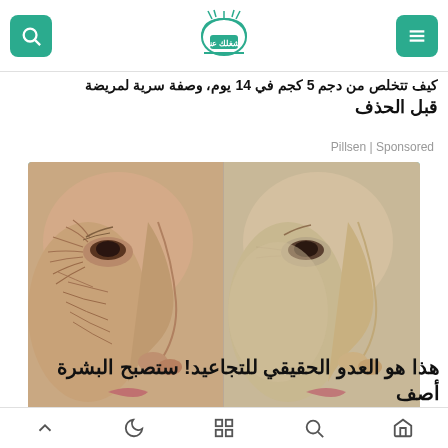شغلك عنا — logo with search and menu icons
كيف تتخلص من دجم 5 كجم في 14 يوم، وصفة سرية لمريضة قبل الحذف
Pillsen | Sponsored
[Figure (photo): Before and after comparison of a woman's face profile showing skin wrinkles on the left (before) and smoother skin on the right (after), against a teal/light blue background]
هذا هو العدو الحقيقي للتجاعيد! ستصبح البشرة أصف